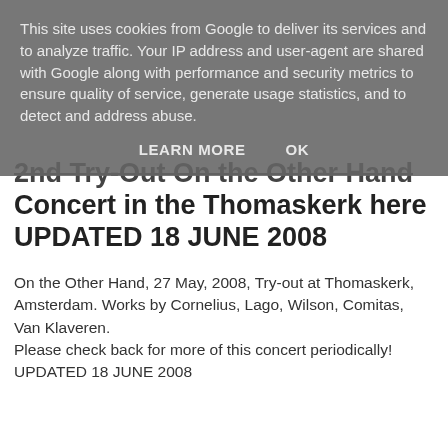This site uses cookies from Google to deliver its services and to analyze traffic. Your IP address and user-agent are shared with Google along with performance and security metrics to ensure quality of service, generate usage statistics, and to detect and address abuse.
LEARN MORE   OK
2nd Try-Out On the Other Hand Concert in the Thomaskerk here UPDATED 18 JUNE 2008
On the Other Hand, 27 May, 2008, Try-out at Thomaskerk, Amsterdam. Works by Cornelius, Lago, Wilson, Comitas, Van Klaveren.
Please check back for more of this concert periodically!
UPDATED 18 JUNE 2008